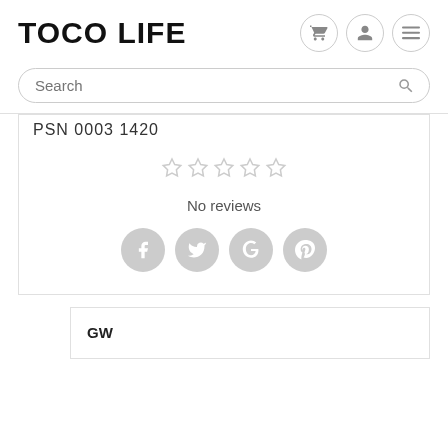TOCO LIFE
Search
PSN 0003 1420
[Figure (other): Five empty star rating icons indicating no reviews]
No reviews
[Figure (other): Social share icons: Facebook, Twitter, Google+, Pinterest]
GW